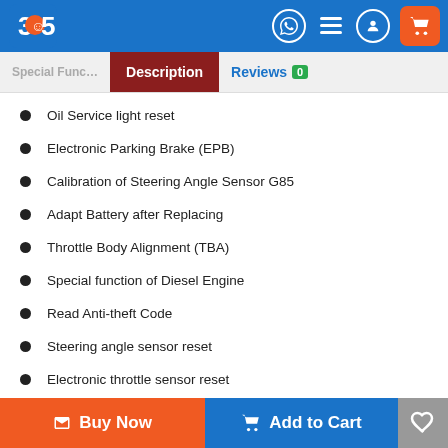365 store header with logo, navigation icons, and cart button
Description | Reviews 0
Oil Service light reset
Electronic Parking Brake (EPB)
Calibration of Steering Angle Sensor G85
Adapt Battery after Replacing
Throttle Body Alignment (TBA)
Special function of Diesel Engine
Read Anti-theft Code
Steering angle sensor reset
Electronic throttle sensor reset
DPF regeneration
Immobilizer programming
Buy Now | Add to Cart | Wishlist